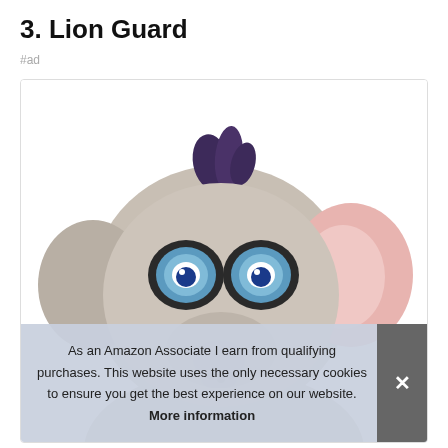3. Lion Guard
#ad
[Figure (photo): A close-up photograph of a Lion Guard plush elephant stuffed animal toy. The plush has a gray rounded head with big blue embroidered eyes, a pink ear visible on the right, a small trunk, and dark blue/purple tuft of hair on top. The toy is shown against a white background inside a bordered box.]
As an Amazon Associate I earn from qualifying purchases. This website uses the only necessary cookies to ensure you get the best experience on our website. More information